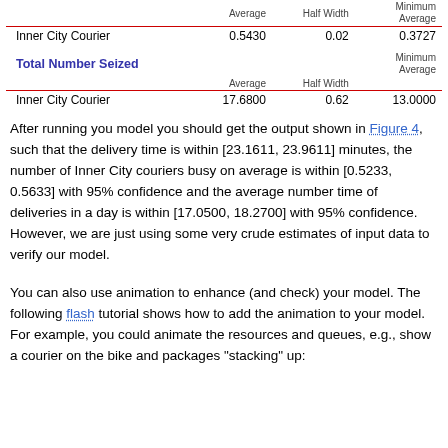|  | Average | Half Width | Minimum Average |
| --- | --- | --- | --- |
| Inner City Courier | 0.5430 | 0.02 | 0.3727 |
| Total Number Seized | Average | Half Width | Minimum Average |
| --- | --- | --- | --- |
| Inner City Courier | 17.6800 | 0.62 | 13.0000 |
After running you model you should get the output shown in Figure 4, such that the delivery time is within [23.1611, 23.9611] minutes, the number of Inner City couriers busy on average is within [0.5233, 0.5633] with 95% confidence and the average number time of deliveries in a day is within [17.0500, 18.2700] with 95% confidence. However, we are just using some very crude estimates of input data to verify our model.
You can also use animation to enhance (and check) your model. The following flash tutorial shows how to add the animation to your model. For example, you could animate the resources and queues, e.g., show a courier on the bike and packages "stacking" up: